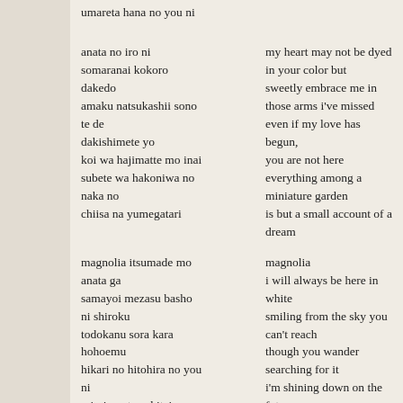umareta hana no you ni
anata no iro ni / somaranai kokoro / dakedo / amaku natsukashii sono / te de / dakishimete yo / koi wa hajimatte mo inai / subete wa hakoniwa no / naka no / chiisa na yumegatari | my heart may not be dyed / in your color but / sweetly embrace me in / those arms i've missed / even if my love has begun, / you are not here / everything among a / miniature garden / is but a small account of a / dream
magnolia itsumade mo / anata ga / samayoi mezasu basho / ni shiroku / todokanu sora kara / hohoemu / hikari no hitohira no you / ni / mirai wo terashiteiru yo | magnolia / i will always be here in white / smiling from the sky you / can't reach / though you wander / searching for it / i'm shining down on the / future / like a petal of light